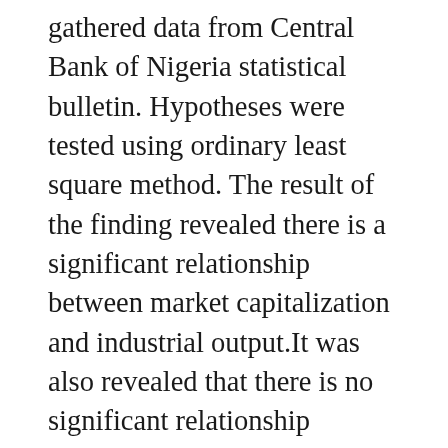gathered data from Central Bank of Nigeria statistical bulletin. Hypotheses were tested using ordinary least square method. The result of the finding revealed there is a significant relationship between market capitalization and industrial output.It was also revealed that there is no significant relationship between volume of shares and industrial output. The study equally revealed that there is no significant relationship between value of shares and industrial output. Based in this, it was recommended Government should create the necessary economic and Sociopolitical